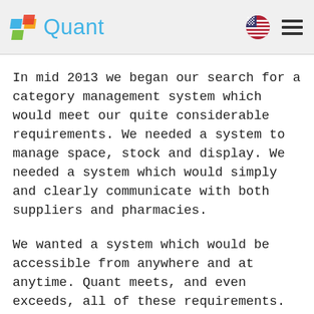Quant
In mid 2013 we began our search for a category management system which would meet our quite considerable requirements. We needed a system to manage space, stock and display. We needed a system which would simply and clearly communicate with both suppliers and pharmacies.
We wanted a system which would be accessible from anywhere and at anytime. Quant meets, and even exceeds, all of these requirements.
For optimum space control in pharmacies, it is important to be able to obtain information